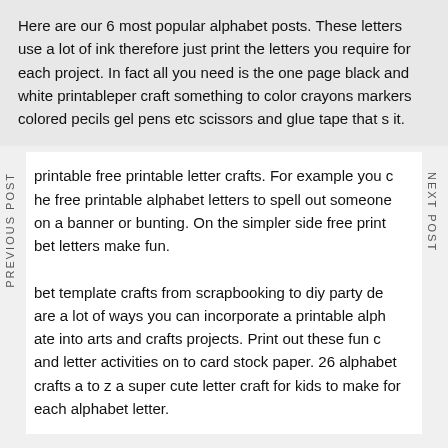Here are our 6 most popular alphabet posts. These letters use a lot of ink therefore just print the letters you require for each project. In fact all you need is the one page black and white printableper craft something to color crayons markers colored pecils gel pens etc scissors and glue tape that s it.
printable free printable letter crafts. For example you c he free printable alphabet letters to spell out someone on a banner or bunting. On the simpler side free print bet letters make fun.
bet template crafts from scrapbooking to diy party de are a lot of ways you can incorporate a printable alph ate into arts and crafts projects. Print out these fun c and letter activities on to card stock paper. 26 alphabet crafts a to z a super cute letter craft for kids to make for each alphabet letter.
Just print cut and paste. Free printable glitter alphabet this is a ready patterned alphabet and each letter has a glitter pattern.